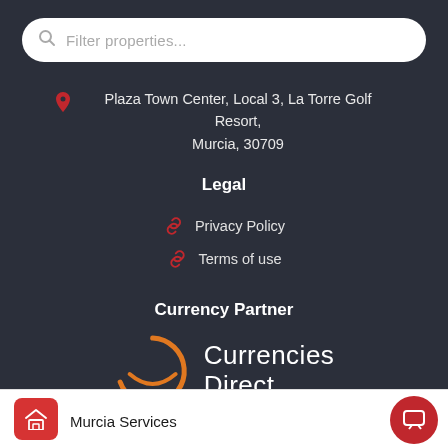Filter properties...
Plaza Town Center, Local 3, La Torre Golf Resort, Murcia, 30709
Legal
Privacy Policy
Terms of use
Currency Partner
[Figure (logo): Currencies Direct logo with orange circular C icon and white text]
Murcia Services